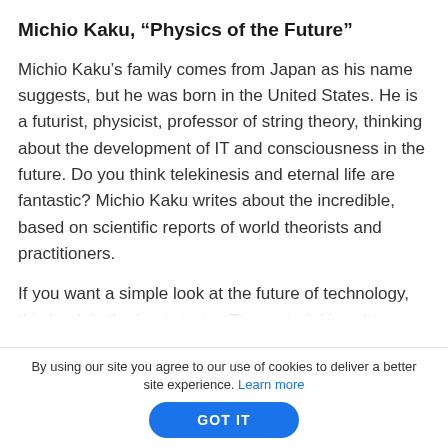Michio Kaku, “Physics of the Future”
Michio Kaku’s family comes from Japan as his name suggests, but he was born in the United States. He is a futurist, physicist, professor of string theory, thinking about the development of IT and consciousness in the future. Do you think telekinesis and eternal life are fantastic? Michio Kaku writes about the incredible, based on scientific reports of world theorists and practitioners.
If you want a simple look at the future of technology, this book is the best starter. The material is written
By using our site you agree to our use of cookies to deliver a better site experience. Learn more
GOT IT